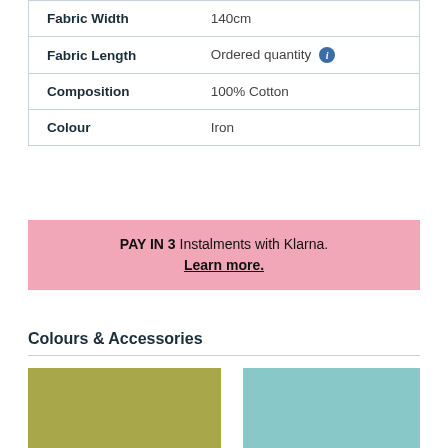| Property | Value |
| --- | --- |
| Fabric Width | 140cm |
| Fabric Length | Ordered quantity (i) |
| Composition | 100% Cotton |
| Colour | Iron |
PAY IN 3 Instalments with Klarna. Learn more.
Colours & Accessories
[Figure (other): Two color swatches side by side: left swatch is olive/khaki green, right swatch is light teal/blue]